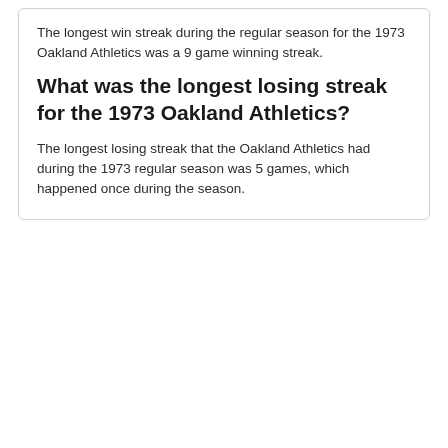The longest win streak during the regular season for the 1973 Oakland Athletics was a 9 game winning streak.
What was the longest losing streak for the 1973 Oakland Athletics?
The longest losing streak that the Oakland Athletics had during the 1973 regular season was 5 games, which happened once during the season.